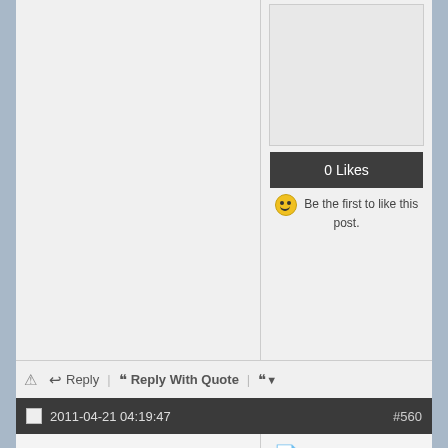[Figure (screenshot): Partial top section of a forum post showing empty left column and right column with a content box, '0 Likes' dark button, and 'Be the first to like this post.' text with smiley emoji]
0 Likes
Be the first to like this post.
Reply | Reply With Quote
2011-04-21 04:19:47  #560
xCONWRATHx
Offensive.
[Figure (photo): Sepia-toned photo of a car from the front, showing headlights]
Join Date: 2007-12-18
Location: Mad-town, WI
Posts: 2,559
Trader Score: 9 (100%)
Picked up some more parts from this local dude having an early mid-life crisis
0 Likes